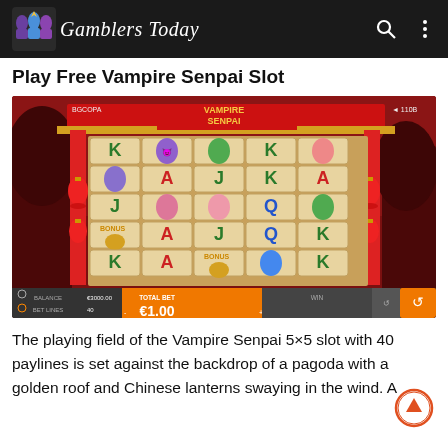Gamblers Today
Play Free Vampire Senpai Slot
[Figure (screenshot): Screenshot of the Vampire Senpai slot game showing a 5x5 grid with playing card symbols (K, A, J, Q) and character symbols (vampire faces) on tile backgrounds, set against a red Chinese pagoda backdrop with red lanterns. Bottom bar shows BALANCE €3000.00, BET LINES 40, TOTAL BET €1.00, WIN field, and spin button.]
The playing field of the Vampire Senpai 5×5 slot with 40 paylines is set against the backdrop of a pagoda with a golden roof and Chinese lanterns swaying in the wind. A